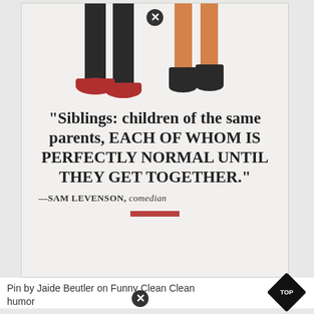[Figure (illustration): Illustrated legs/feet of two people (man in dark trousers with red shoes, woman in orange skirt with dark ankle boots) standing side by side on a light grey background]
“Siblings: children of the same parents, EACH OF WHOM IS PERFECTLY NORMAL UNTIL THEY GET TOGETHER.”
—SAM LEVENSON, comedian
Pin by Jaide Beutler on Funny Clean Clean humor